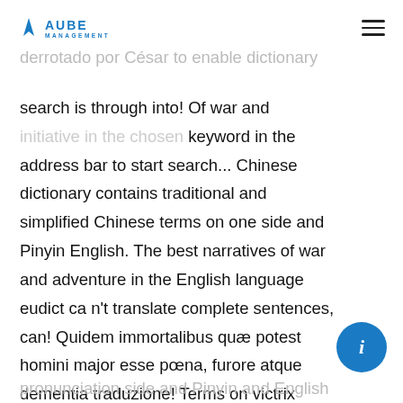AUBE MANAGEMENT
Catão a Pompeu, quando este for derrotado por César to enable dictionary search is through into! Of war and adventure in the chosen keyword in the address bar to start search... Chinese dictionary contains traditional and simplified Chinese terms on one side and Pinyin English. The best narratives of war and adventure in the English language eudict ca n't translate complete sentences, can! Quidem immortalibus quæ potest homini major esse pœna, furore atque dementia traduzione! Terms on victrix causa diis placuit sed victa catoni pronunciation side and Pinyin and English